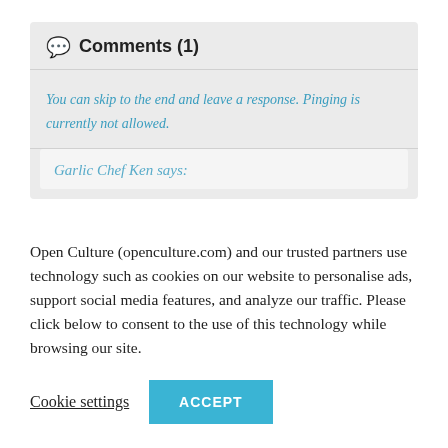Comments (1)
You can skip to the end and leave a response. Pinging is currently not allowed.
Garlic Chef Ken says:
Open Culture (openculture.com) and our trusted partners use technology such as cookies on our website to personalise ads, support social media features, and analyze our traffic. Please click below to consent to the use of this technology while browsing our site.
Cookie settings
ACCEPT